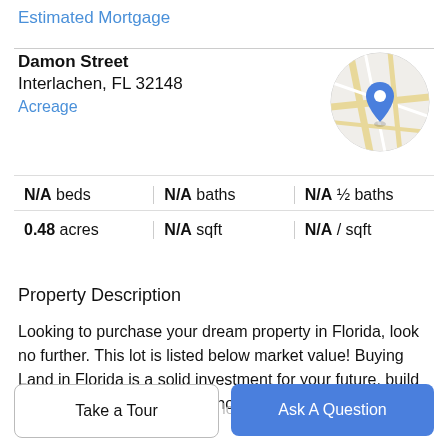Estimated Mortgage
Damon Street
Interlachen, FL 32148
Acreage
[Figure (map): Circular map thumbnail with a blue location pin marker showing street map of Interlachen, FL area]
| N/A beds | N/A baths | N/A ½ baths |
| 0.48 acres | N/A sqft | N/A / sqft |
Property Description
Looking to purchase your dream property in Florida, look no further. This lot is listed below market value! Buying Land in Florida is a solid investment for your future, build your dream home, vacation home, rental investment or let
the land build value as a great long term investment in
Take a Tour
Ask A Question